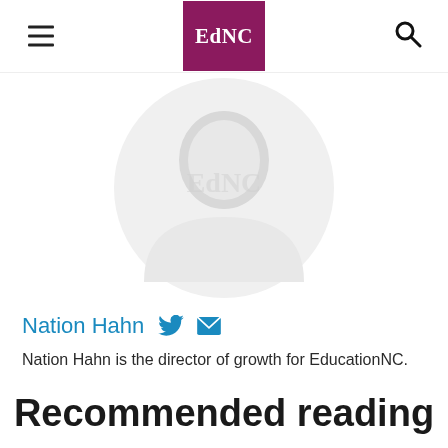EdNC
[Figure (photo): Circular profile photo placeholder with faint EdNC logo watermark on white/light grey background]
Nation Hahn
Nation Hahn is the director of growth for EducationNC.
Recommended reading